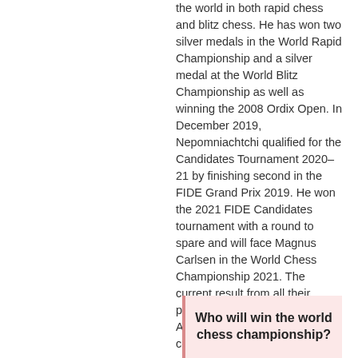the world in both rapid chess and blitz chess. He has won two silver medals in the World Rapid Championship and a silver medal at the World Blitz Championship as well as winning the 2008 Ordix Open. In December 2019, Nepomniachtchi qualified for the Candidates Tournament 2020–21 by finishing second in the FIDE Grand Prix 2019. He won the 2021 FIDE Candidates tournament with a round to spare and will face Magnus Carlsen in the World Chess Championship 2021. The current result from all their previous games is 13-11. According to Bwin betting company, the odds are heavily on the side of Carlsen. Carlsen, to win 1.3  Nepo to win 3.30   Who do you think will win?
Who will win the world chess championship?